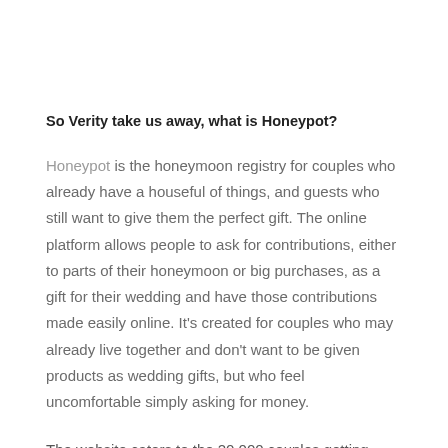So Verity take us away, what is Honeypot?
Honeypot is the honeymoon registry for couples who already have a houseful of things, and guests who still want to give them the perfect gift. The online platform allows people to ask for contributions, either to parts of their honeymoon or big purchases, as a gift for their wedding and have those contributions made easily online. It's created for couples who may already live together and don't want to be given products as wedding gifts, but who feel uncomfortable simply asking for money.
The website caters to the 20,000 couples getting married each month in Britain. For the affluent and